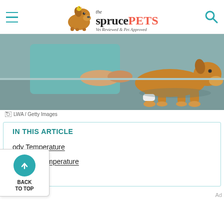the spruce PETS — Vet Reviewed & Pet Approved
[Figure (photo): Veterinarian examining a dog's paw on a metal examination table]
LWA / Getty Images
IN THIS ARTICLE
ody Temperature
bnormal Temperature
eart Rate